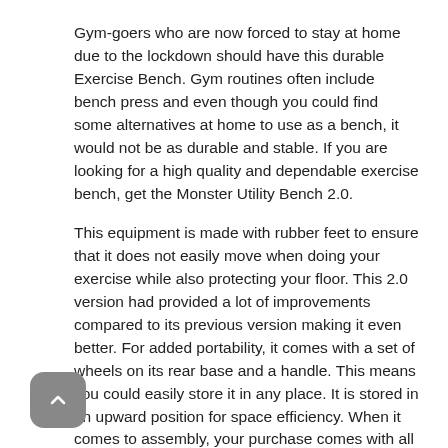Gym-goers who are now forced to stay at home due to the lockdown should have this durable Exercise Bench. Gym routines often include bench press and even though you could find some alternatives at home to use as a bench, it would not be as durable and stable. If you are looking for a high quality and dependable exercise bench, get the Monster Utility Bench 2.0.
This equipment is made with rubber feet to ensure that it does not easily move when doing your exercise while also protecting your floor. This 2.0 version had provided a lot of improvements compared to its previous version making it even better. For added portability, it comes with a set of wheels on its rear base and a handle. This means you could easily store it in any place. It is stored in an upward position for space efficiency. When it comes to assembly, your purchase comes with all necessary hardware for a quick and easy